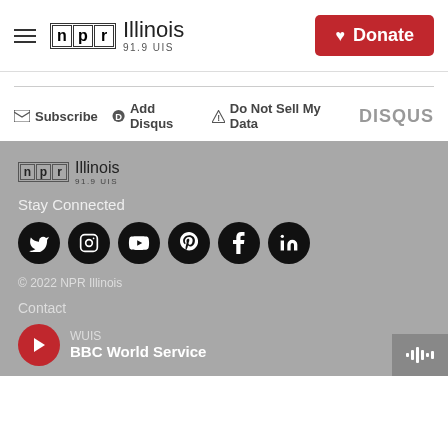NPR Illinois 91.9 UIS — Donate
Subscribe  Add Disqus  Do Not Sell My Data  DISQUS
[Figure (logo): NPR Illinois 91.9 UIS footer logo on grey background]
Stay Connected
[Figure (infographic): Social media icons: Twitter, Instagram, YouTube, Pinterest, Facebook, LinkedIn]
© 2022 NPR Illinois
Contact
WUIS
BBC World Service